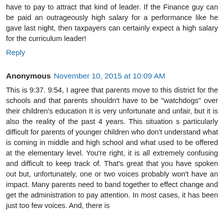have to pay to attract that kind of leader. If the Finance guy can be paid an outrageously high salary for a performance like he gave last night, then taxpayers can certainly expect a high salary for the curriculum leader!
Reply
Anonymous November 10, 2015 at 10:09 AM
This is 9:37. 9:54, I agree that parents move to this district for the schools and that parents shouldn't have to be "watchdogs" over their children's education It is very unfortunate and unfair, but it is also the reality of the past 4 years. This situation s particularly difficult for parents of younger children who don't understand what is coming in middle and high school and what used to be offered at the elementary level. You're right, it is all extremely confusing and difficult to keep track of. That's great that you have spoken out but, unfortunately, one or two voices probably won't have an impact. Many parents need to band together to effect change and get the administration to pay attention. In most cases, it has been just too few voices. And, there is definitely more of us who need to join in and help drive in